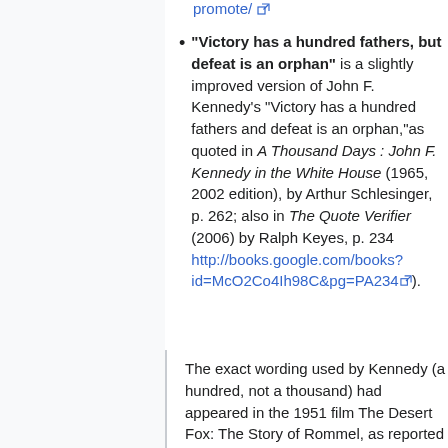promote/ (external link)
"Victory has a hundred fathers, but defeat is an orphan" is a slightly improved version of John F. Kennedy's "Victory has a hundred fathers and defeat is an orphan,"as quoted in A Thousand Days : John F. Kennedy in the White House (1965, 2002 edition), by Arthur Schlesinger, p. 262; also in The Quote Verifier (2006) by Ralph Keyes, p. 234 http://books.google.com/books?id=McO2Co4Ih98C&pg=PA234 (external link).
The exact wording used by Kennedy (a hundred, not a thousand) had appeared in the 1951 film The Desert Fox: The Story of Rommel, as reported in Safire's New Political Dictionary (1993) by William Safire, p